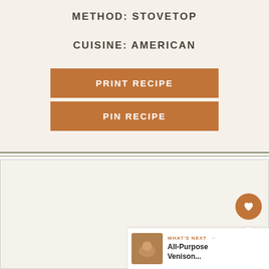METHOD: STOVETOP
CUISINE: AMERICAN
PRINT RECIPE
PIN RECIPE
[Figure (screenshot): White/blank content area below divider lines with floating action buttons (heart and share) on the right side, and a 'What's Next' bar at bottom right showing 'All-Purpose Venison...']